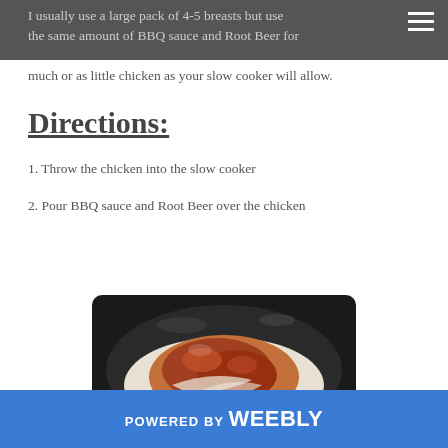I usually use a large pack of 4-5 breasts but use the same amount of BBQ sauce and Root Beer for much or as little chicken as your slow cooker will allow.
Directions:
1. Throw the chicken into the slow cooker
2. Pour BBQ sauce and Root Beer over the chicken
[Figure (photo): Chicken with BBQ sauce and Root Beer in a slow cooker, viewed from above showing dark glaze on the meat inside a black slow cooker bowl]
POWERED BY weebly